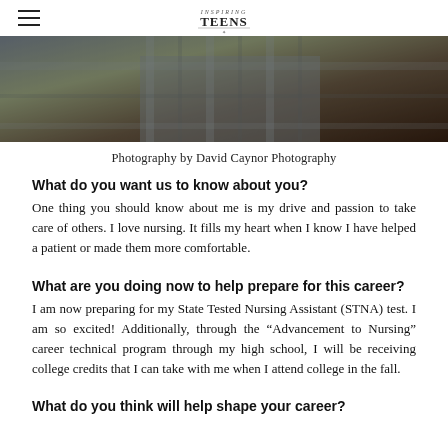Inspiring Teens
[Figure (photo): Partial photo of a person wearing a plaid/checkered outfit, dark moody background]
Photography by David Caynor Photography
What do you want us to know about you?
One thing you should know about me is my drive and passion to take care of others. I love nursing. It fills my heart when I know I have helped a patient or made them more comfortable.
What are you doing now to help prepare for this career?
I am now preparing for my State Tested Nursing Assistant (STNA) test. I am so excited! Additionally, through the “Advancement to Nursing” career technical program through my high school, I will be receiving college credits that I can take with me when I attend college in the fall.
What do you think will help shape your career?